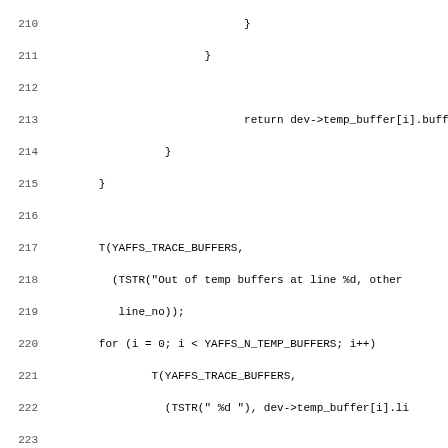Source code listing, lines 210-242, C code for YAFFS filesystem buffer management
[Figure (screenshot): C source code snippet showing yaffs temp buffer functions, lines 210-242]